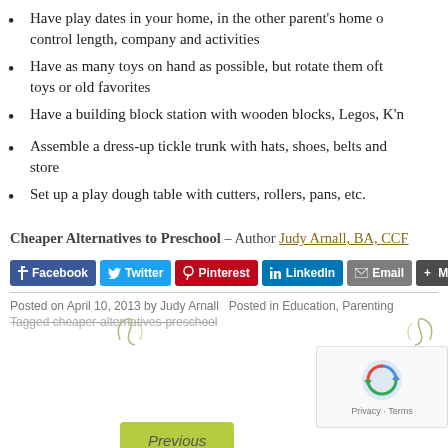Have play dates in your home, in the other parent's home or control length, company and activities
Have as many toys on hand as possible, but rotate them often toys or old favorites
Have a building block station with wooden blocks, Legos, K'n
Assemble a dress-up tickle trunk with hats, shoes, belts and store
Set up a play dough table with cutters, rollers, pans, etc.
Cheaper Alternatives to Preschool – Author Judy Arnall, BA, CCF
[Figure (infographic): Social sharing buttons: Facebook, Twitter, Pinterest, LinkedIn, Email, More, and a share count of 2]
Posted on April 10, 2013 by Judy Arnall   Posted in Education, Parenting
Tagged cheaper-alternatives-preschool
[Figure (infographic): Previous navigation button with green background and decorative swirl border]
[Figure (infographic): reCAPTCHA widget with circular arrow icon and Privacy/Terms text]